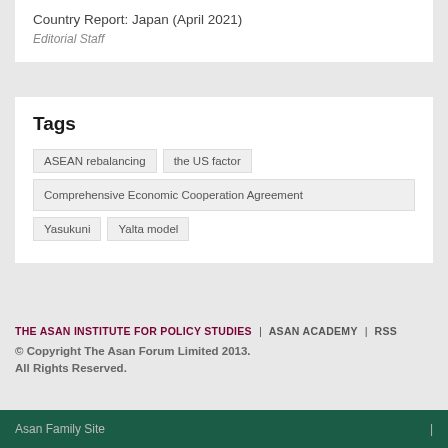Country Report: Japan (April 2021)
Editorial Staff
Tags
ASEAN rebalancing
the US factor
Comprehensive Economic Cooperation Agreement
Yasukuni
Yalta model
THE ASAN INSTITUTE FOR POLICY STUDIES | ASAN ACADEMY | RSS
© Copyright The Asan Forum Limited 2013. All Rights Reserved.
Asan Family Site |